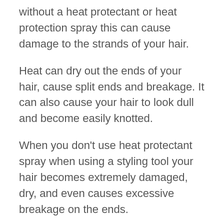without a heat protectant or heat protection spray this can cause damage to the strands of your hair.
Heat can dry out the ends of your hair, cause split ends and breakage. It can also cause your hair to look dull and become easily knotted.
When you don't use heat protectant spray when using a styling tool your hair becomes extremely damaged, dry, and even causes excessive breakage on the ends.
The heat strips off natural or artificial color pigments in your hair, breaking down the keratin protein which gives your hair strength and elasticity. This can cause split ends and